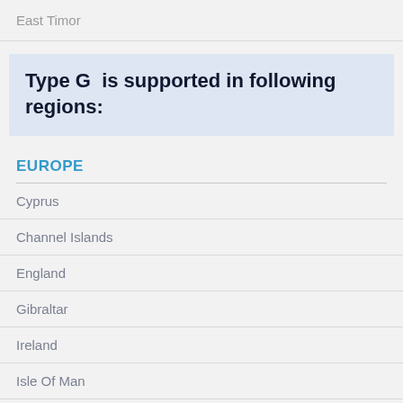East Timor
Type G  is supported in following regions:
EUROPE
Cyprus
Channel Islands
England
Gibraltar
Ireland
Isle Of Man
Malta